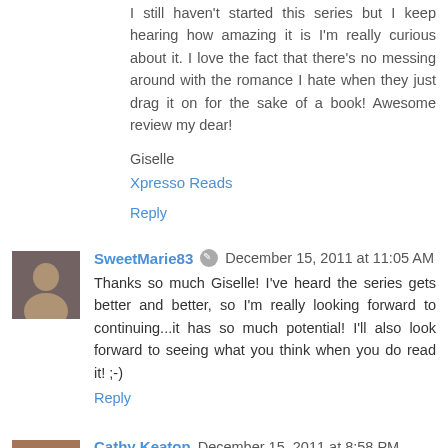I still haven't started this series but I keep hearing how amazing it is I'm really curious about it. I love the fact that there's no messing around with the romance I hate when they just drag it on for the sake of a book! Awesome review my dear!
Giselle
Xpresso Reads
Reply
SweetMarie83 • December 15, 2011 at 11:05 AM
Thanks so much Giselle! I've heard the series gets better and better, so I'm really looking forward to continuing...it has so much potential! I'll also look forward to seeing what you think when you do read it! ;-)
Reply
Cathy Keaton December 15, 2011 at 8:58 PM
I liked this book, but if you're all about Irish folklore, you'll